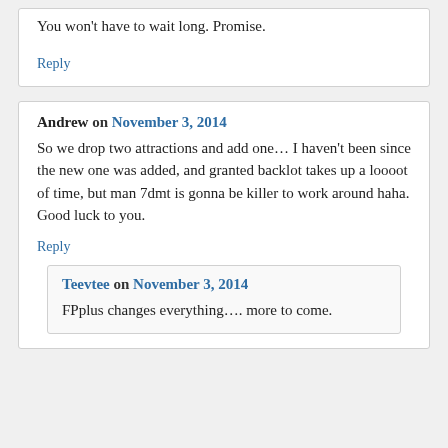You won't have to wait long. Promise.
Reply
Andrew on November 3, 2014
So we drop two attractions and add one… I haven't been since the new one was added, and granted backlot takes up a loooot of time, but man 7dmt is gonna be killer to work around haha. Good luck to you.
Reply
Teevtee on November 3, 2014
FPplus changes everything…. more to come.